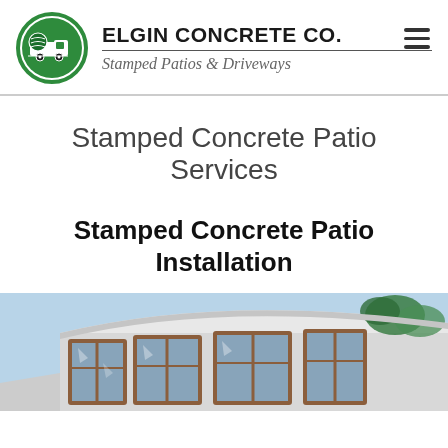ELGIN CONCRETE CO. | Stamped Patios & Driveways
Stamped Concrete Patio Services
Stamped Concrete Patio Installation
[Figure (photo): Exterior photo of a modern building with large floor-to-ceiling windows and wooden frames, showing a curved roofline against a blue sky with greenery visible]